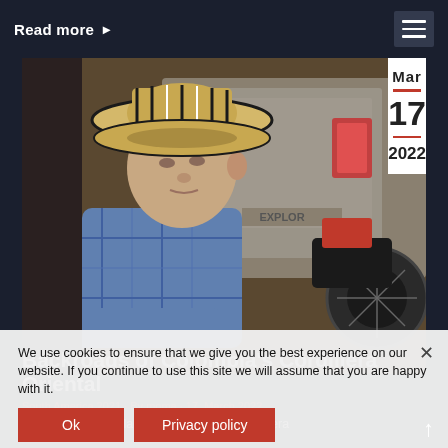Read more ▶
[Figure (photo): Elderly Colombian man wearing a traditional sombrero vueltiao hat, seated, with vehicles (Ford Explorer SUV and a motorcycle) in the background. Outdoor scene.]
Mar — 17 — 2022
We use cookies to ensure that we give you the best experience on our website. If you continue to use this site we will assume that you are happy with it.
Backroads of Colombia's Cordillera Oriental
South America 2021 · By moma · 17. March 2022
A trip thru the highlands of Colombia's Cordillera